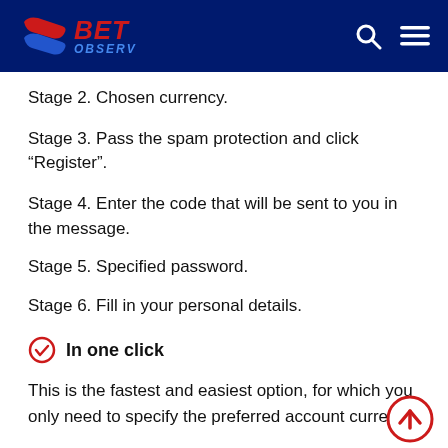BET OBSERV
Stage 2. Chosen currency.
Stage 3. Pass the spam protection and click “Register”.
Stage 4. Enter the code that will be sent to you in the message.
Stage 5. Specified password.
Stage 6. Fill in your personal details.
In one click
This is the fastest and easiest option, for which you only need to specify the preferred account currency.